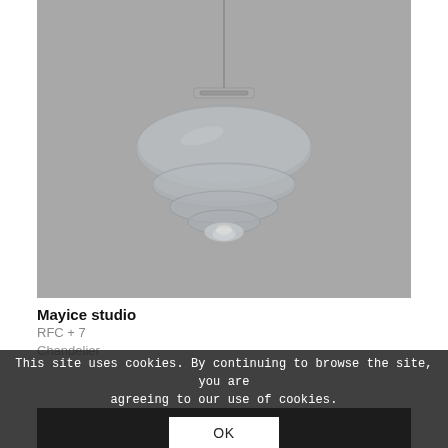[Figure (photo): A glass pendant chandelier with layered disc-shaped shades in smoky gray glass, hanging from a thin cord against a gray background. Chrome fittings at top.]
Mayice studio
RFC + 7
Chandelier
This site uses cookies. By continuing to browse the site, you are agreeing to our use of cookies.
OK